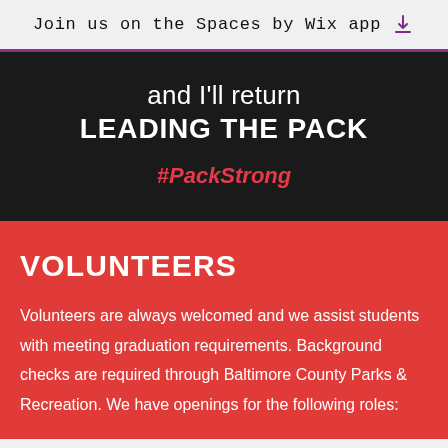Join us on the Spaces by Wix app
and I'll return
LEADING THE PACK
#PackStrong
VOLUNTEERS
Volunteers are always welcomed and we assist students with meeting graduation requirements. Background checks are required through Baltimore County Parks & Recreation. We have openings for the following roles: